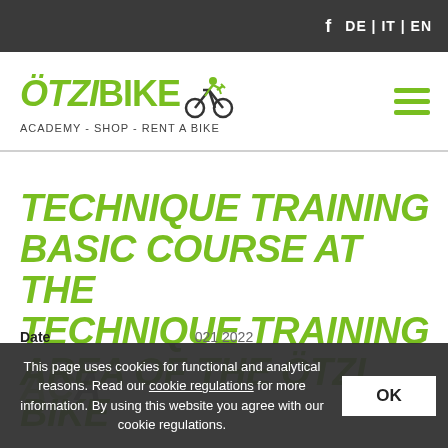f  DE | IT | EN
[Figure (logo): Ötzi Bike logo with cyclist icon and tagline ACADEMY - SHOP - RENT A BIKE]
TECHNIQUE TRAINING BASIC COURSE AT THE TECHNIQUE TRAINING AREA OF THE ÖTZI BIKE ACADEMY
This page uses cookies for functional and analytical reasons. Read our cookie regulations for more information. By using this website you agree with our cookie regulations.
Date  021 2022